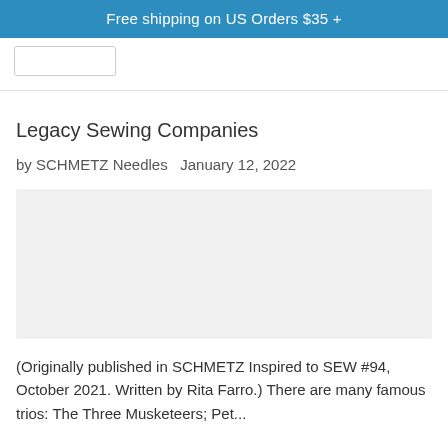Free shipping on US Orders $35 +
[Figure (other): Navigation placeholder button/logo area]
Legacy Sewing Companies
by SCHMETZ Needles   January 12, 2022
[Figure (photo): Article image placeholder (light gray rectangle)]
(Originally published in SCHMETZ Inspired to SEW #94, October 2021. Written by Rita Farro.) There are many famous trios: The Three Musketeers; Pet...